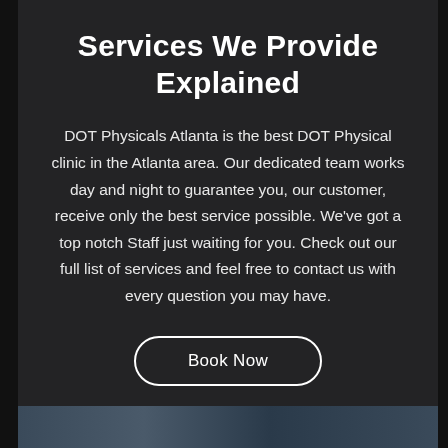Services We Provide Explained
DOT Physicals Atlanta is the best DOT Physical clinic in the Atlanta area. Our dedicated team works day and night to guarantee you, our customer, receive only the best service possible. We've got a top notch Staff just waiting for you. Check out our full list of services and feel free to contact us with every question you may have.
Book Now
[Figure (photo): Partial photo visible at the bottom of the page, appears to be a medical or clinic scene]